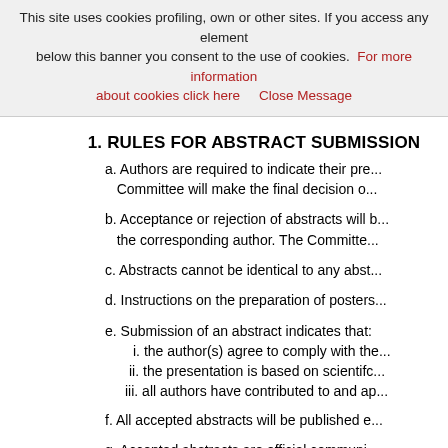This site uses cookies profiling, own or other sites. If you access any element below this banner you consent to the use of cookies. For more information about cookies click here    Close Message
1. RULES FOR ABSTRACT SUBMISSION
a. Authors are required to indicate their pre... Committee will make the final decision o...
b. Acceptance or rejection of abstracts will b... the corresponding author. The Committe...
c. Abstracts cannot be identical to any abst...
d. Instructions on the preparation of posters...
e. Submission of an abstract indicates that:
  i. the author(s) agree to comply with the...
  ii. the presentation is based on scientifc...
  iii. all authors have contributed to and ap...
f. All accepted abstracts will be published e...
g. Accepted abstracts are official communi... The presenting author MUST REGISTER...
h. The evaluation and scoring of the abstra...
  i. Scholarly and/or research validity
  ii. Educational value